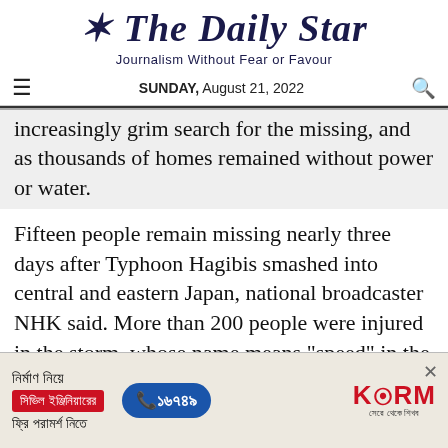The Daily Star
Journalism Without Fear or Favour
SUNDAY, August 21, 2022
increasingly grim search for the missing, and as thousands of homes remained without power or water.
Fifteen people remain missing nearly three days after Typhoon Hagibis smashed into central and eastern Japan, national broadcaster NHK said. More than 200 people were injured in the storm, whose name means "speed" in the Tagalog language.
[Figure (infographic): Advertisement banner for KSRM featuring Bengali text about civil engineering consultation, a phone number 16749, and the KSRM logo.]